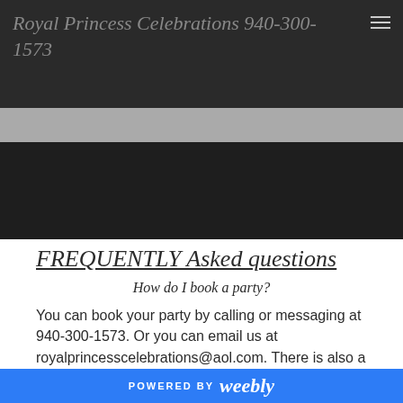Royal Princess Celebrations 940-300-1573
FREQUENTLY Asked questions
How do I book a party?
You can book your party by calling or messaging at 940-300-1573. Or you can email us at royalprincesscelebrations@aol.com. There is also a
POWERED BY weebly